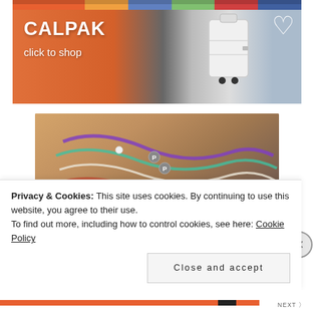[Figure (photo): CALPAK luggage advertisement showing a white suitcase against a colorful mural background with text 'CALPAK click to shop' and a heart graphic]
[Figure (photo): Pura Vida bracelets advertisement showing colorful woven bracelets with 'P' charms held in a hand, with 'puravida LIVE FREE' logo]
Privacy & Cookies: This site uses cookies. By continuing to use this website, you agree to their use.
To find out more, including how to control cookies, see here: Cookie Policy
Close and accept